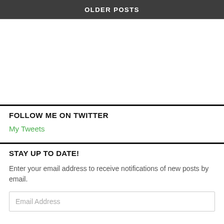OLDER POSTS
FOLLOW ME ON TWITTER
My Tweets
STAY UP TO DATE!
Enter your email address to receive notifications of new posts by email.
Email Address